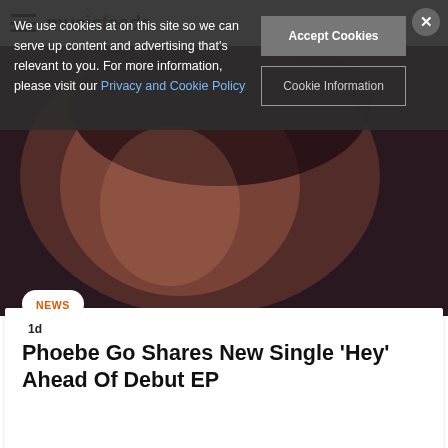musicfeeds (nav bar with hamburger menu and search icon)
We use cookies at on this site so we can serve up content and advertising that's relevant to you. For more information, please visit our Privacy and Cookie Policy
Accept Cookies
Cookie Information
[Figure (photo): Close-up photo of a person's face, partially shadowed, warm tones]
NEWS
1d
Phoebe Go Shares New Single ‘Hey’ Ahead Of Debut EP
[Figure (photo): Photo of a female performer on stage with arm raised, dramatic lighting]